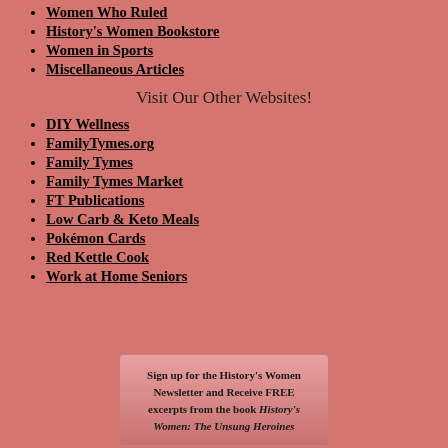Women Who Ruled
History's Women Bookstore
Women in Sports
Miscellaneous Articles
Visit Our Other Websites!
DIY Wellness
FamilyTymes.org
Family Tymes
Family Tymes Market
FT Publications
Low Carb & Keto Meals
Pokémon Cards
Red Kettle Cook
Work at Home Seniors
Sign up for the History's Women Newsletter and Receive FREE excerpts from the book History's Women: The Unsung Heroines